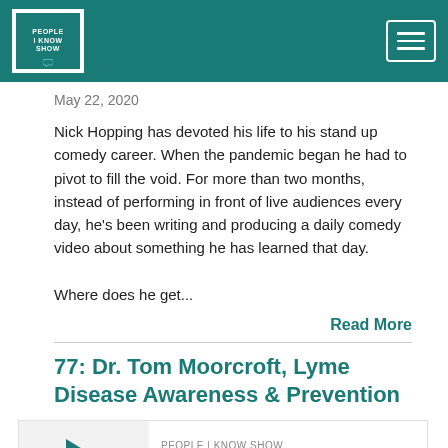PEOPLE I KNOW SHOW
May 22, 2020
Nick Hopping has devoted his life to his stand up comedy career. When the pandemic began he had to pivot to fill the void. For more than two months, instead of performing in front of live audiences every day, he's been writing and producing a daily comedy video about something he has learned that day.

Where does he get...
Read More
77: Dr. Tom Moorcroft, Lyme Disease Awareness & Prevention
[Figure (screenshot): Podcast audio player widget showing episode 77: Dr. Tom Moorcroft, Lyme Disease Awareness... with a teal play button on the left and a progress bar]